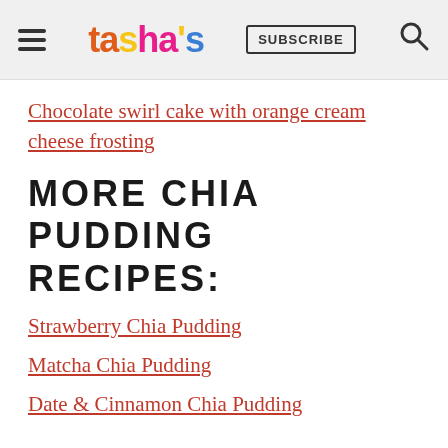tasha's | SUBSCRIBE
Chocolate swirl cake with orange cream cheese frosting
MORE CHIA PUDDING RECIPES:
Strawberry Chia Pudding
Matcha Chia Pudding
Date & Cinnamon Chia Pudding